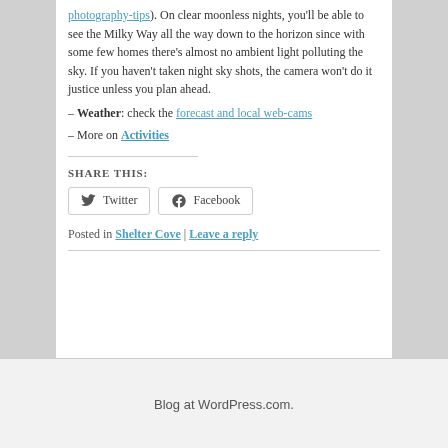photography-tips). On clear moonless nights, you'll be able to see the Milky Way all the way down to the horizon since with some few homes there's almost no ambient light polluting the sky. If you haven't taken night sky shots, the camera won't do it justice unless you plan ahead.
– Weather: check the forecast and local web-cams
– More on Activities
SHARE THIS:
Twitter  Facebook
Posted in Shelter Cove | Leave a reply
Blog at WordPress.com.